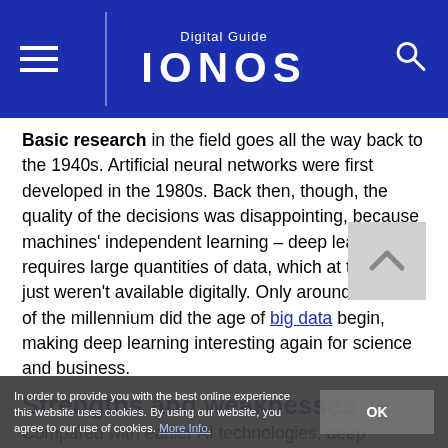Digital Guide IONOS
Basic research in the field goes all the way back to the 1940s. Artificial neural networks were first developed in the 1980s. Back then, though, the quality of the decisions was disappointing, because machines' independent learning – deep learning – requires large quantities of data, which at the time just weren't available digitally. Only around the turn of the millennium did the age of big data begin, making deep learning interesting again for science and business.
Strengths and weaknesses
Compared with earlier AI technologies, deep learning is significantly more effective. That's why the huge media interest